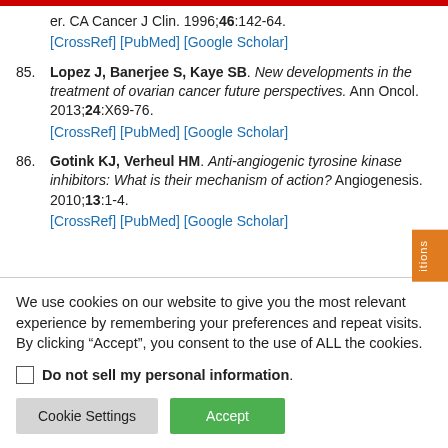er. CA Cancer J Clin. 1996;46:142-64. [CrossRef] [PubMed] [Google Scholar]
85. Lopez J, Banerjee S, Kaye SB. New developments in the treatment of ovarian cancer future perspectives. Ann Oncol. 2013;24:X69-76. [CrossRef] [PubMed] [Google Scholar]
86. Gotink KJ, Verheul HM. Anti-angiogenic tyrosine kinase inhibitors: What is their mechanism of action? Angiogenesis. 2010;13:1-4. [CrossRef] [PubMed] [Google Scholar]
We use cookies on our website to give you the most relevant experience by remembering your preferences and repeat visits. By clicking “Accept”, you consent to the use of ALL the cookies.
Do not sell my personal information.